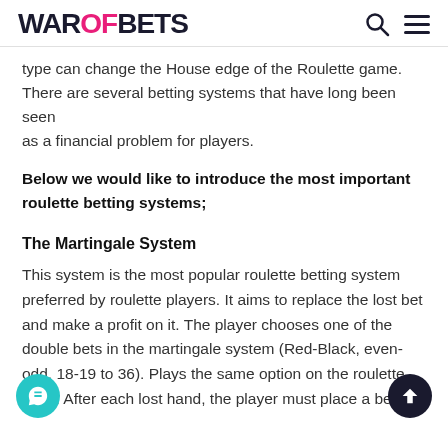WAROFBETS
type can change the House edge of the Roulette game. There are several betting systems that have long been seen as a financial problem for players.
Below we would like to introduce the most important roulette betting systems;
The Martingale System
This system is the most popular roulette betting system preferred by roulette players. It aims to replace the lost bet and make a profit on it. The player chooses one of the double bets in the martingale system (Red-Black, even-odd, 18-19 to 36). Plays the same option on the roulette table. After each lost hand, the player must place a bet